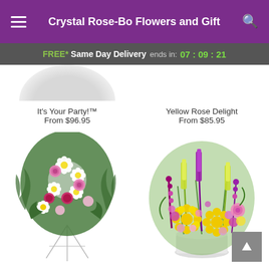Crystal Rose-Bo Flowers and Gift
FREE* Same Day Delivery ends in: 07 : 09 : 21
It's Your Party!™
From $96.95
Yellow Rose Delight
From $85.95
[Figure (photo): Funeral flower spray arrangement with white daisies, pink and red roses on an easel stand]
[Figure (photo): Tall colorful flower arrangement with yellow chrysanthemums, purple and pink flowers in a white pot]